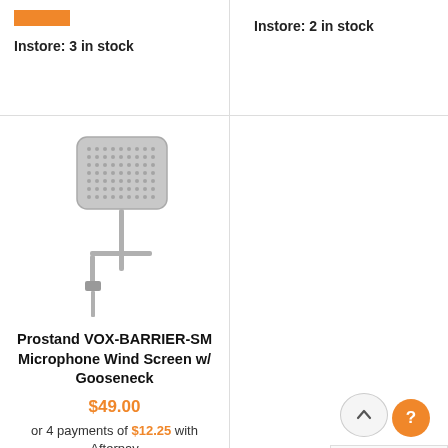Instore: 3 in stock
Instore: 2 in stock
[Figure (photo): Prostand VOX-BARRIER-SM microphone wind screen with gooseneck clamp mount, silver metallic finish, on white background]
Prostand VOX-BARRIER-SM Microphone Wind Screen w/ Gooseneck
$49.00
or 4 payments of $12.25 with Afterpay
ADD TO CART